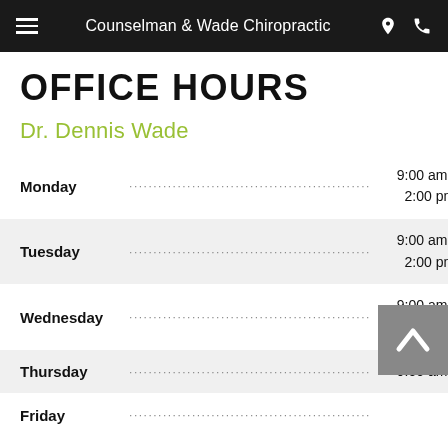Counselman & Wade Chiropractic
OFFICE HOURS
Dr. Dennis Wade
| Day |  | Hours |
| --- | --- | --- |
| Monday | ....................................... | 9:00 am - 12:00 pm
2:00 pm - 5:30 pm |
| Tuesday | ....................................... | 9:00 am - 12:00 pm
2:00 pm - 5:30 pm |
| Wednesday | ....................................... | 9:00 am - 12:00 pm
2:00 pm - 5:30 pm |
| Thursday | ....................................... | 9:00 am - 12:00 pm |
| Friday | ....................................... | Closed |